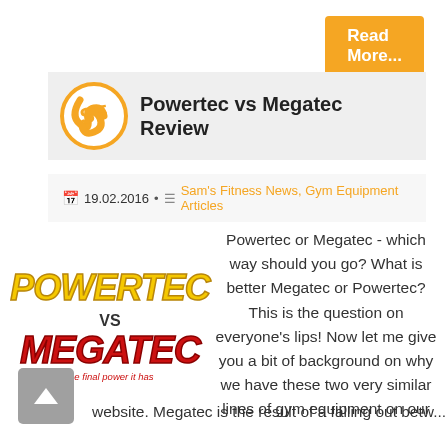Read More
Powertec vs Megatec Review
19.02.2016 • Sam's Fitness News, Gym Equipment Articles
[Figure (logo): Powertec vs Megatec logo with yellow POWERTEC text, VS in black, and red MEGATEC text with tagline]
Powertec or Megatec - which way should you go? What is better Megatec or Powertec? This is the question on everyone's lips! Now let me give you a bit of background on why we have these two very similar lines of gym equipment on our website. Megatec is the result of a falling out betw...